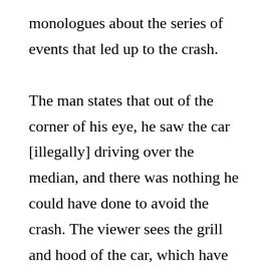monologues about the series of events that led up to the crash.

The man states that out of the corner of his eye, he saw the car [illegally] driving over the median, and there was nothing he could have done to avoid the crash. The viewer sees the grill and hood of the car, which have crumbled severely. It seems this part of the vehicle that had sustained the most damage and taken the force of the crash. While this is happening, the camera pans on the teal car